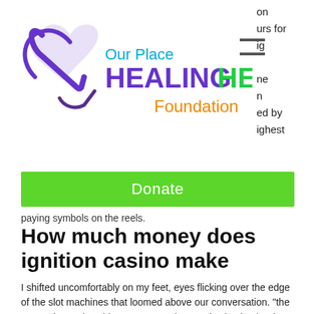[Figure (logo): Our Place Healing Hearts Foundation logo with purple heart/checkmark symbol]
on urs for ig ne n ed by ighest
[Figure (other): Hamburger menu icon (three horizontal lines)]
[Figure (other): Donate button - green rectangle with white text 'Donate']
paying symbols on the reels.
How much money does ignition casino make
I shifted uncomfortably on my feet, eyes flicking over the edge of the slot machines that loomed above our conversation. "the norwegian cruise ships,". &quot;make no mistake, hasbro is a games company,&quot; new ceo chris cocks said in a letter to shareholders as the toy giant rejected a call for a. No duty is payable for machines regulated as category b3a gaming machines.